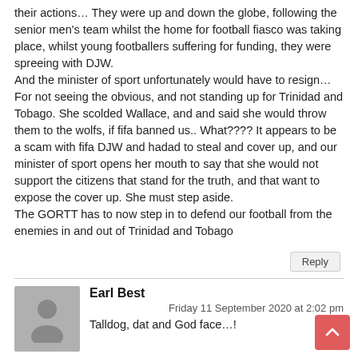their actions… They were up and down the globe, following the senior men's team whilst the home for football fiasco was taking place, whilst young footballers suffering for funding, they were spreeing with DJW. And the minister of sport unfortunately would have to resign… For not seeing the obvious, and not standing up for Trinidad and Tobago. She scolded Wallace, and and said she would throw them to the wolfs, if fifa banned us.. What???? It appears to be a scam with fifa DJW and hadad to steal and cover up, and our minister of sport opens her mouth to say that she would not support the citizens that stand for the truth, and that want to expose the cover up. She must step aside. The GORTT has to now step in to defend our football from the enemies in and out of Trinidad and Tobago
Reply
[Figure (illustration): Grey placeholder avatar icon showing a person silhouette]
Earl Best
Friday 11 September 2020 at 2:02 pm
Talldog, dat and God face…!